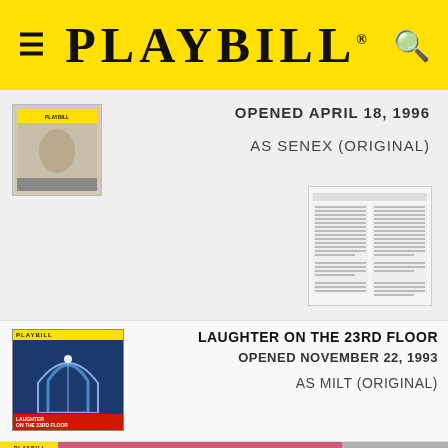PLAYBILL
OPENED APRIL 18, 1996
AS SENEX (ORIGINAL)
[Figure (other): Small thumbnail of a playbill cover]
[Figure (other): Thumbnail of a printed document/newspaper clipping]
LAUGHTER ON THE 23RD FLOOR
OPENED NOVEMBER 22, 1993
AS MILT (ORIGINAL)
[Figure (other): Playbill cover for Laughter on the 23rd Floor with blue arch design]
[Figure (other): Advertisement banner: 6 WEEKS ONLY! FROM SEPT 10 - This Beautiful Future - CHERRY LANE THEATER - Critics Pick]